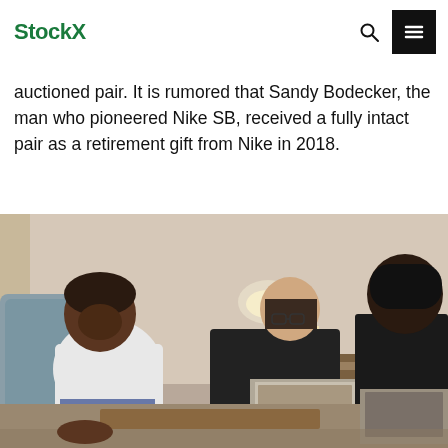StockX
auctioned pair. It is rumored that Sandy Bodecker, the man who pioneered Nike SB, received a fully intact pair as a retirement gift from Nike in 2018.
[Figure (photo): Three people in a hotel room or living room setting. A man in a white t-shirt and jeans sits on a teal/blue upholstered chair on the left. In the center, a man in a black hoodie leans forward working on a laptop. On the right, another person in a black shirt also looks at a laptop. Warm lamp light in the background with curtains and wooden furniture.]